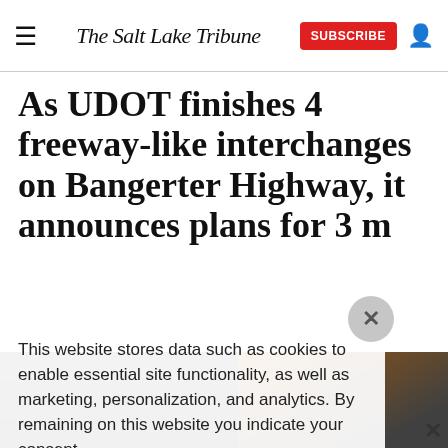The Salt Lake Tribune
As UDOT finishes 4 freeway-like interchanges on Bangerter Highway, it announces plans for 3 m
This website stores data such as cookies to enable essential site functionality, as well as marketing, personalization, and analytics. By remaining on this website you indicate your consent.
Data Storage Policy
[Figure (photo): Photo of construction workers on Bangerter Highway, person in orange safety vest visible on right side]